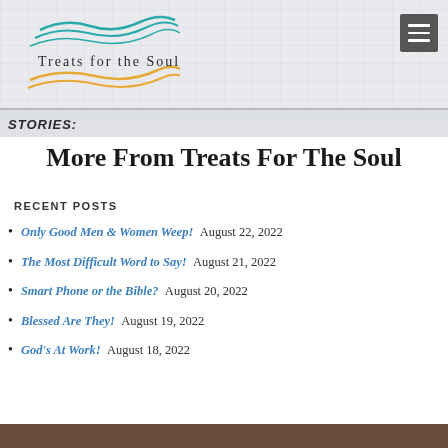Treats for the Soul
STORIES:
More From Treats For The Soul
RECENT POSTS
Only Good Men & Women Weep! August 22, 2022
The Most Difficult Word to Say! August 21, 2022
Smart Phone or the Bible? August 20, 2022
Blessed Are They! August 19, 2022
God's At Work! August 18, 2022